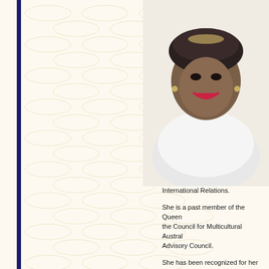[Figure (photo): Portrait photograph of a woman wearing a white shirt and a decorative headpiece, smiling, against a light background]
International Relations.
She is a past member of the Queensland the Council for Multicultural Australia Advisory Council.
She has been recognized for her contributions with awards including a Centenary Medal for Counselling, Advocacy and Settlement services to communities in Queensland.